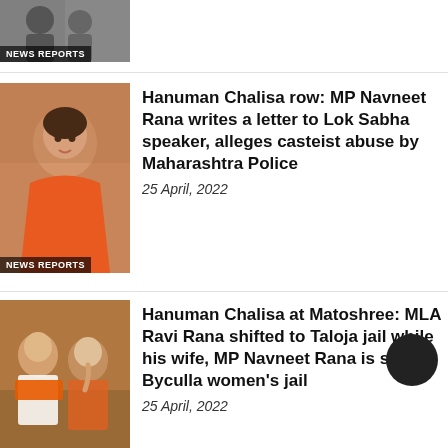[Figure (photo): Partial view of a news article image at the top with NEWS REPORTS badge]
[Figure (photo): Portrait photo of MP Navneet Rana in orange attire with NEWS REPORTS badge overlay]
Hanuman Chalisa row: MP Navneet Rana writes a letter to Lok Sabha speaker, alleges casteist abuse by Maharashtra Police
25 April, 2022
[Figure (photo): Photo of MLA Ravi Rana and MP Navneet Rana with NEWS REPORTS badge overlay]
Hanuman Chalisa at Matoshree: MLA Ravi Rana shifted to Taloja jail while his wife, MP Navneet Rana is sent to Byculla women's jail
25 April, 2022
[Figure (photo): Photo of Maharashtra political figures with NEWS REPORTS badge]
Maharashtra: Navneet Rana and Ravi Rana charged with sedition for planning to chant Hanuman Chalisa, sent to